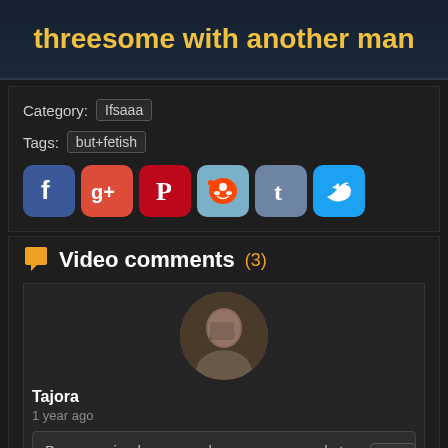threesome with another man
Category: Ifsaaa
Tags: but+fetish
[Figure (other): Social share icons: Facebook, Google+, Pinterest, Reddit, Tumblr, Twitter]
Video comments (3)
[Figure (photo): Circular avatar photo of user Tajora]
Tajora
1 year ago
Bunun yerine bu soruna karar vermeye çalıştım.